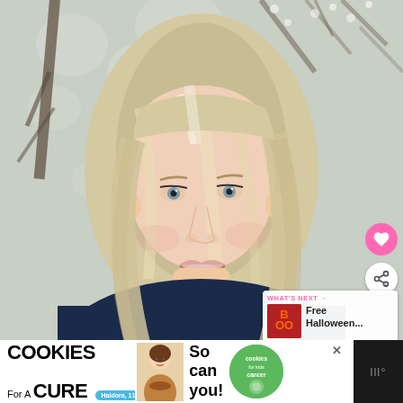[Figure (photo): Portrait photo of a smiling blonde woman with long straight hair, wearing a dark navy top. Background shows bare tree branches with light bokeh. Pink heart/favorite button and white share button overlay on the right side. A 'What's Next' panel in the bottom right shows a thumbnail and text 'Free Halloween...'.]
WHAT'S NEXT → Free Halloween...
I Bake COOKIES For A CURE Haldora, 11 Cancer Survivor So can you! cookies for kids cancer